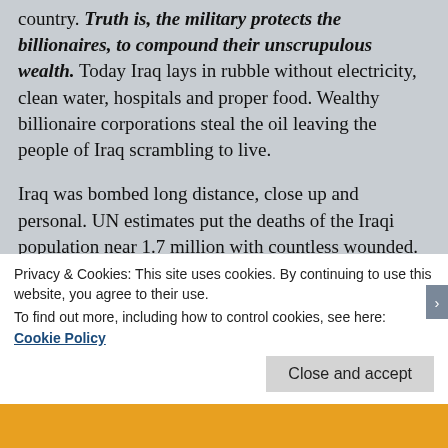country. Truth is, the military protects the billionaires, to compound their unscrupulous wealth. Today Iraq lays in rubble without electricity, clean water, hospitals and proper food. Wealthy billionaire corporations steal the oil leaving the people of Iraq scrambling to live.
Iraq was bombed long distance, close up and personal. UN estimates put the deaths of the Iraqi population near 1.7 million with countless wounded. Saddam Hussein, love him or leave him, was entitled to a fair trial for those who believe in an honest judicial system. An additional 10% of the middle class
Privacy & Cookies: This site uses cookies. By continuing to use this website, you agree to their use.
To find out more, including how to control cookies, see here: Cookie Policy